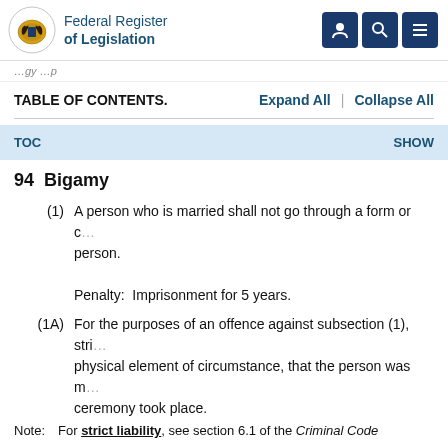Federal Register of Legislation
TABLE OF CONTENTS.    Expand All  |  Collapse All
TOC    SHOW
94  Bigamy
(1)  A person who is married shall not go through a form or ceremony of marriage with another person.

Penalty:  Imprisonment for 5 years.
(1A)  For the purposes of an offence against subsection (1), strict liability applies to the physical element of circumstance, that the person was married when the ceremony took place.
Note:   For strict liability, see section 6.1 of the Criminal Code.